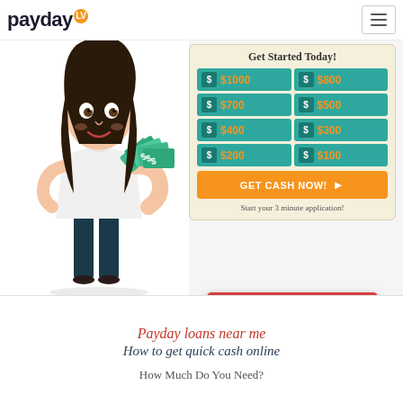[Figure (logo): PaydayLV logo with orange LV badge]
[Figure (illustration): Cartoon woman in business attire holding fan of money bills]
Get Started Today!
| $1000 | $800 |
| $700 | $500 |
| $400 | $300 |
| $200 | $100 |
GET CASH NOW!
Start your 3 minute application!
APPLY TODAY!
Payday loans near me
How  to get quick cash online
How Much Do You Need?